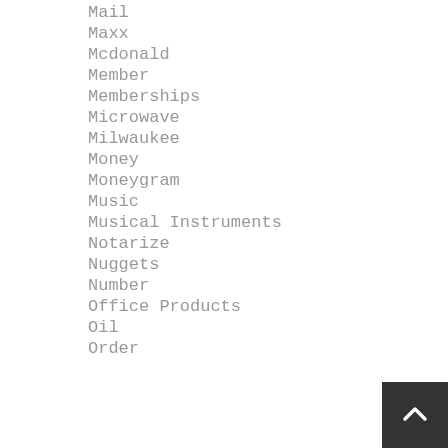Mail
Maxx
Mcdonald
Member
Memberships
Microwave
Milwaukee
Money
Moneygram
Music
Musical Instruments
Notarize
Nuggets
Number
Office Products
Oil
Order